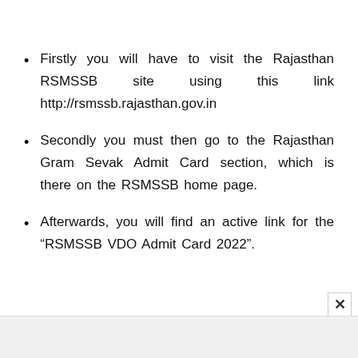Firstly you will have to visit the Rajasthan RSMSSB site using this link http://rsmssb.rajasthan.gov.in
Secondly you must then go to the Rajasthan Gram Sevak Admit Card section, which is there on the RSMSSB home page.
Afterwards, you will find an active link for the “RSMSSB VDO Admit Card 2022”.